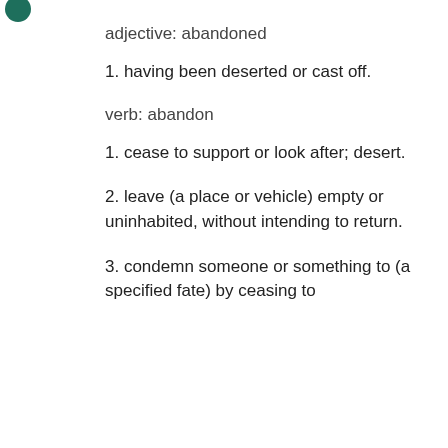adjective: abandoned
1. having been deserted or cast off.
verb: abandon
1. cease to support or look after; desert.
2. leave (a place or vehicle) empty or uninhabited, without intending to return.
3. condemn someone or something to (a specified fate) by ceasing to